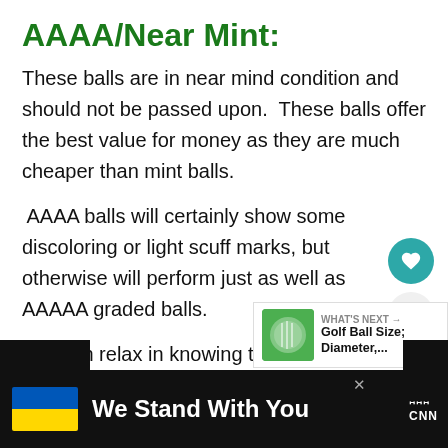AAAA/Near Mint:
These balls are in near mind condition and should not be passed upon.  These balls offer the best value for money as they are much cheaper than mint balls.
AAAA balls will certainly show some discoloring or light scuff marks, but otherwise will perform just as well as AAAAA graded balls.
You can relax in knowing that these balls will have minor cosmetic marks, but nothing that w... the flight of the ball.
[Figure (infographic): WHAT'S NEXT promotional box with golf ball image and text 'Golf Ball Size; Diameter,...']
[Figure (infographic): Footer banner: Ukraine flag with 'We Stand With You' text on dark background with CNN logo]